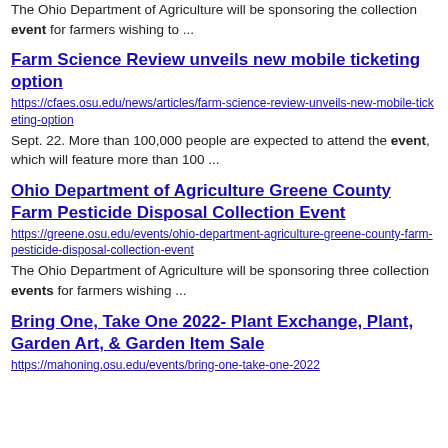The Ohio Department of Agriculture will be sponsoring the collection event for farmers wishing to ...
Farm Science Review unveils new mobile ticketing option
https://cfaes.osu.edu/news/articles/farm-science-review-unveils-new-mobile-ticketing-option
Sept. 22. More than 100,000 people are expected to attend the event, which will feature more than 100 ...
Ohio Department of Agriculture Greene County Farm Pesticide Disposal Collection Event
https://greene.osu.edu/events/ohio-department-agriculture-greene-county-farm-pesticide-disposal-collection-event
The Ohio Department of Agriculture will be sponsoring three collection events for farmers wishing ...
Bring One, Take One 2022- Plant Exchange, Plant, Garden Art, & Garden Item Sale
https://mahoning.osu.edu/events/bring-one-take-one-2022